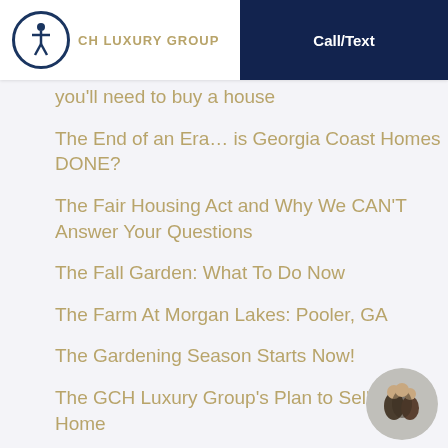GCH LUXURY GROUP | Call/Text
you'll need to buy a house
The End of an Era… is Georgia Coast Homes DONE?
The Fair Housing Act and Why We CAN'T Answer Your Questions
The Fall Garden: What To Do Now
The Farm At Morgan Lakes: Pooler, GA
The Gardening Season Starts Now!
The GCH Luxury Group's Plan to Sell Your Home
The home inspection: which inspections are mandatory?